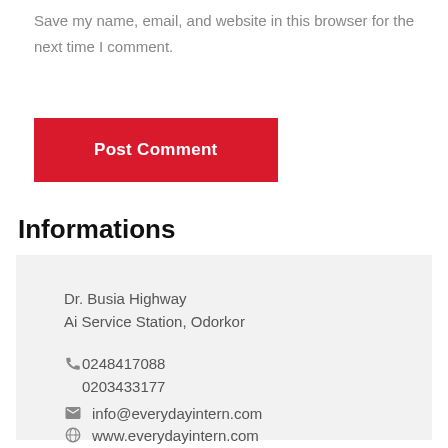Save my name, email, and website in this browser for the next time I comment.
Post Comment
Informations
Dr. Busia Highway
Ai Service Station, Odorkor

0248417088
0203433177
info@everydayintern.com
www.everydayintern.com